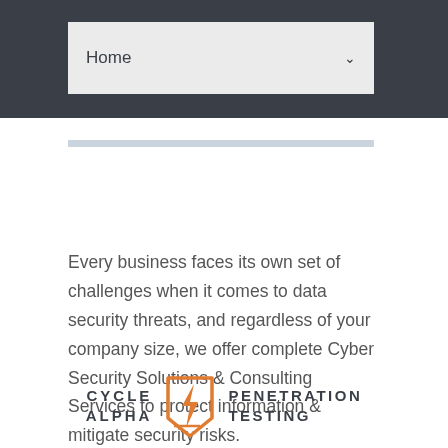Home
Every business faces its own set of challenges when it comes to data security threats, and regardless of your company size, we offer complete Cyber Security Solutions & Consulting Services to protect information & mitigate security risks.
[Figure (logo): Cycle Alpha Penetration Testing logo with lightning bolt icon in orange, text in dark charcoal]